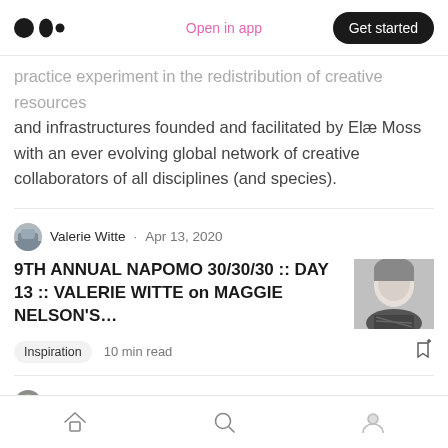Medium app header with logo, 'Open in app' link, and 'Get started' button
practice experiment in the redistribution of creative resources and infrastructures founded and facilitated by Elæ Moss with an ever evolving global network of creative collaborators of all disciplines (and species).
Valerie Witte · Apr 13, 2020
9TH ANNUAL NAPOMO 30/30/30 :: DAY 13 :: VALERIE WITTE on MAGGIE NELSON'S...
Inspiration  10 min read
Sarah Rosenthal · Apr 12, 2020
9TH ANNUAL NAPOMO 30/30/30 :: DAY 12 :: SARAH ROSENTHAL on HYESOON KIM
Bottom navigation bar with home, search, and profile icons